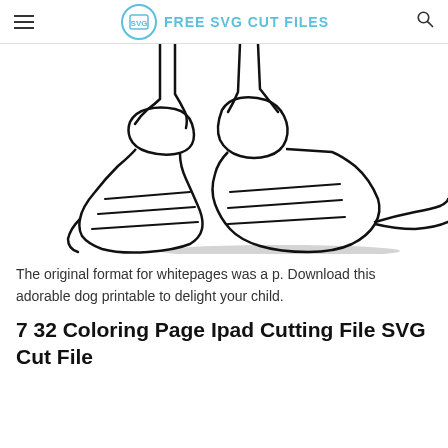FREE SVG CUT FILES
[Figure (illustration): Black and white line drawing of cartoon dog feet/boots with striped socks, partially cropped at top]
The original format for whitepages was a p. Download this adorable dog printable to delight your child.
7 32 Coloring Page Ipad Cutting File SVG Cut File